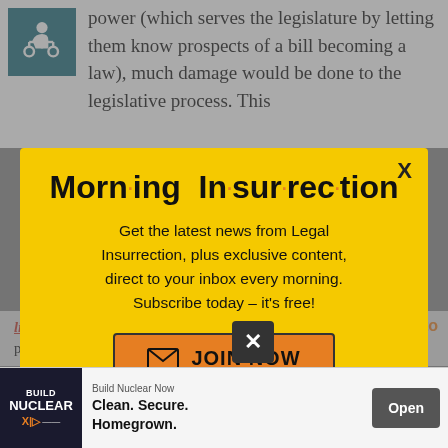power (which serves the legislature by letting them know prospects of a bill becoming a law), much damage would be done to the legislative process. This
[Figure (screenshot): Modal popup overlay with yellow background. Title reads 'Morning Insurrection' with orange dots between syllables. Body text: 'Get the latest news from Legal Insurrection, plus exclusive content, direct to your inbox every morning. Subscribe today – it's free!' Orange JOIN NOW button with envelope icon. Close X in top-right corner.]
limiting-power ess it is time for a presidential indictment, he can be
[Figure (screenshot): Advertisement bar: Build Nuclear Now. Clean. Secure. Homegrown. Open button.]
arrest warrant needed. Not much